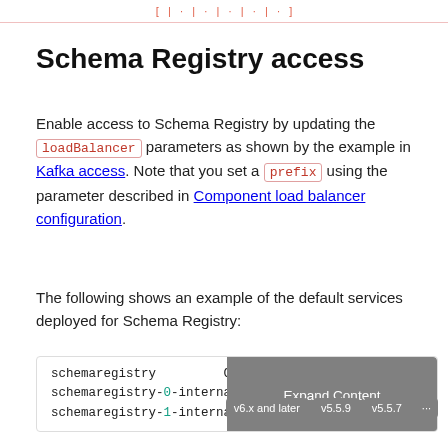[ … | … | … | … | … ]
Schema Registry access
Enable access to Schema Registry by updating the loadBalancer parameters as shown by the example in Kafka access. Note that you set a prefix using the parameter described in Component load balancer configuration.
The following shows an example of the default services deployed for Schema Registry:
[Figure (screenshot): Code block showing schemaregistry, schemaregistry-0-internal, schemaregistry-1-internal with ClusterIP and None columns, with Expand Content overlay and version buttons v6.x and later, v5.5.9, v5.5.7, ...]